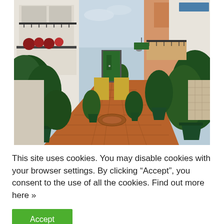[Figure (photo): A narrow pedestrian street lined with white-washed buildings decorated with green plants, flowers, and large dark green potted shrubs. Red brick paving, balconies with iron railings, and a distant green door visible at the end of the alley. Mediterranean / Andalusian architectural style.]
This site uses cookies. You may disable cookies with your browser settings. By clicking “Accept”, you consent to the use of all the cookies. Find out more here »
Accept